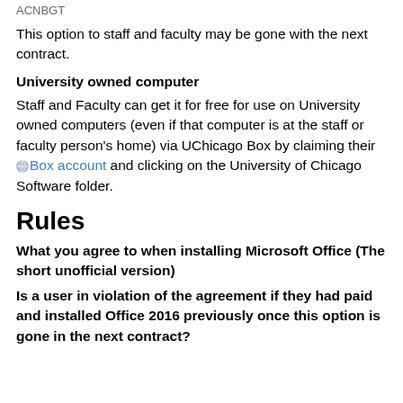ACNBGT
This option to staff and faculty may be gone with the next contract.
University owned computer
Staff and Faculty can get it for free for use on University owned computers (even if that computer is at the staff or faculty person's home) via UChicago Box by claiming their Box account and clicking on the University of Chicago Software folder.
Rules
What you agree to when installing Microsoft Office (The short unofficial version)
Is a user in violation of the agreement if they had paid and installed Office 2016 previously once this option is gone in the next contract?